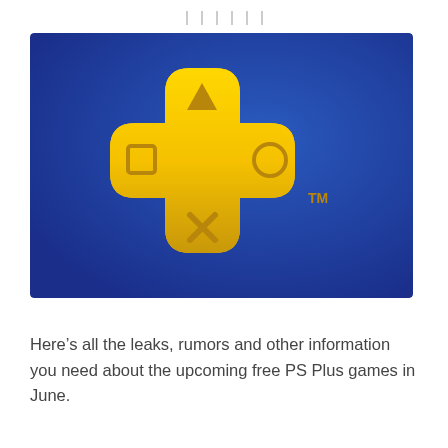| | | | | |
[Figure (logo): PlayStation Plus logo on a blue gradient background. A golden yellow cross/plus shape with PlayStation controller button symbols: triangle (top), circle (right), X (bottom), square (left). TM trademark symbol in gold to the right of the cross.]
Here’s all the leaks, rumors and other information you need about the upcoming free PS Plus games in June.